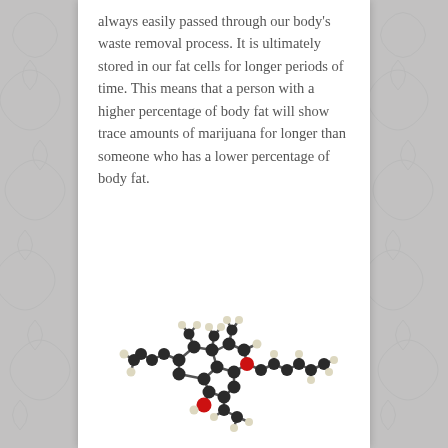always easily passed through our body's waste removal process. It is ultimately stored in our fat cells for longer periods of time. This means that a person with a higher percentage of body fat will show trace amounts of marijuana for longer than someone who has a lower percentage of body fat.
[Figure (illustration): 3D ball-and-stick molecular model of THC (tetrahydrocannabinol), showing carbon atoms in dark gray/black, hydrogen atoms in white/cream, and oxygen atoms in red.]